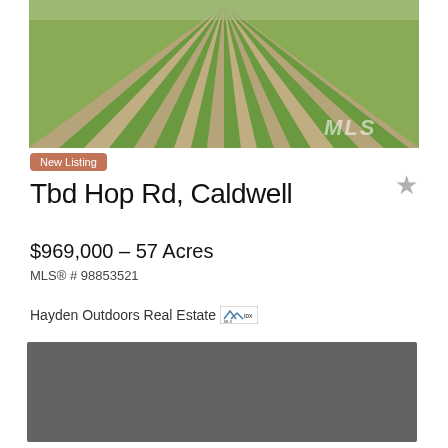[Figure (photo): Aerial view of rows of green crops in a field, stretching to the horizon]
New Listing
Tbd Hop Rd, Caldwell
$969,000 - 57 Acres
MLS® # 98853521
Hayden Outdoors Real Estate
[Figure (map): Gray map placeholder showing property location]